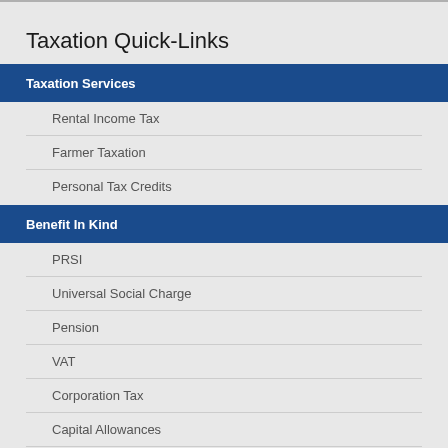Taxation Quick-Links
Taxation Services
Rental Income Tax
Farmer Taxation
Personal Tax Credits
Benefit In Kind
PRSI
Universal Social Charge
Pension
VAT
Corporation Tax
Capital Allowances
Capital Gains Tax